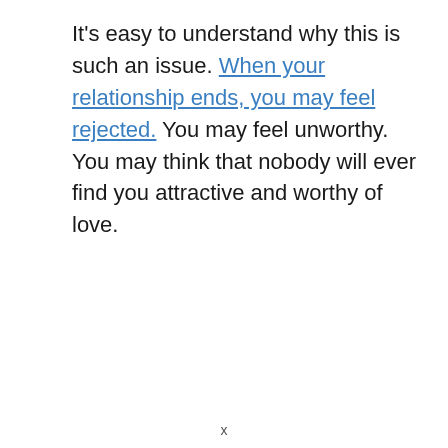It's easy to understand why this is such an issue. When your relationship ends, you may feel rejected. You may feel unworthy. You may think that nobody will ever find you attractive and worthy of love.
x